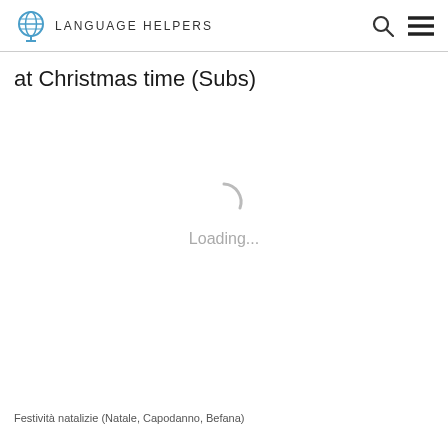Language Helpers
at Christmas time (Subs)
[Figure (other): Loading spinner icon (circular arc spinner in light gray) with 'Loading...' text below]
Festività natalizie (Natale, Capodanno, Befana)